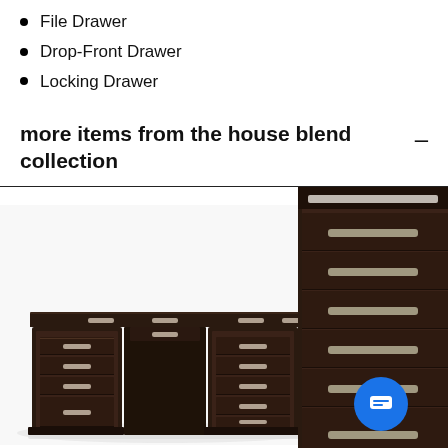File Drawer
Drop-Front Drawer
Locking Drawer
more items from the house blend collection
[Figure (photo): Dark brown executive desk with multiple drawers and silver drawer pulls on both pedestals, set against a white background]
[Figure (photo): Dark brown tall chest/dresser with multiple drawers and silver bar pulls, partially cropped on the right side of the page]